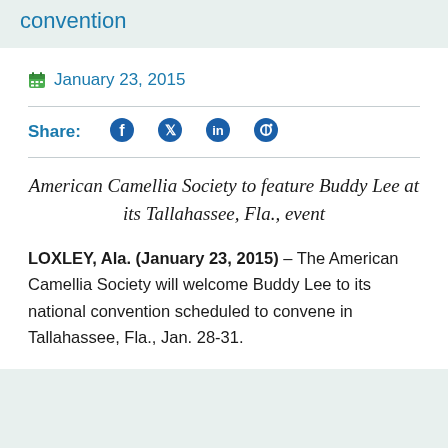convention
January 23, 2015
Share:
American Camellia Society to feature Buddy Lee at its Tallahassee, Fla., event
LOXLEY, Ala. (January 23, 2015) – The American Camellia Society will welcome Buddy Lee to its national convention scheduled to convene in Tallahassee, Fla., Jan. 28-31.